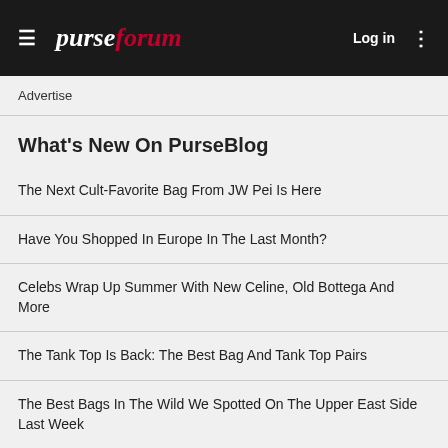purseforum — Log in
Advertise
What's New On PurseBlog
The Next Cult-Favorite Bag From JW Pei Is Here
Have You Shopped In Europe In The Last Month?
Celebs Wrap Up Summer With New Celine, Old Bottega And More
The Tank Top Is Back: The Best Bag And Tank Top Pairs
The Best Bags In The Wild We Spotted On The Upper East Side Last Week
The Crystal Bag Trend Is Still Going Strong